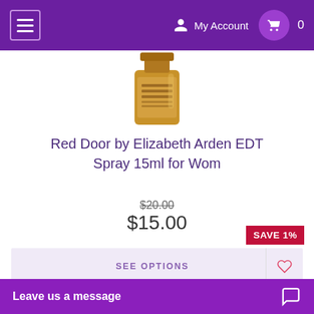My Account  0
[Figure (photo): Partial view of a gold/amber perfume bottle (Red Door by Elizabeth Arden EDT Spray 15ml) against white background]
Red Door by Elizabeth Arden EDT Spray 15ml for Wom
$20.00
$15.00
SEE OPTIONS
[Figure (photo): Save 1% badge with partial view of a red/pink perfume product with box packaging]
SAVE 1%
Leave us a message